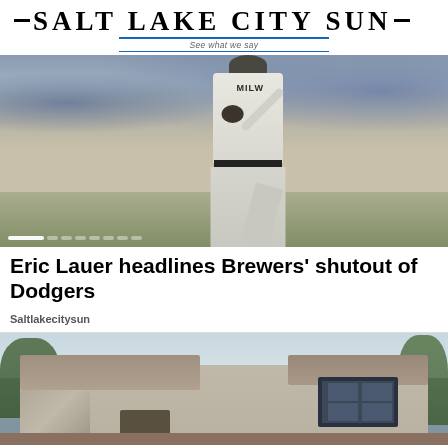Salt Lake City Sun — See what we say
[Figure (photo): Milwaukee Brewers pitcher in mid-throw on a baseball field with a blurred crowd in the background]
Eric Lauer headlines Brewers' shutout of Dodgers
Saltlakecitysun
[Figure (photo): Exterior view of a modern two-story house with large windows and trees in the background]